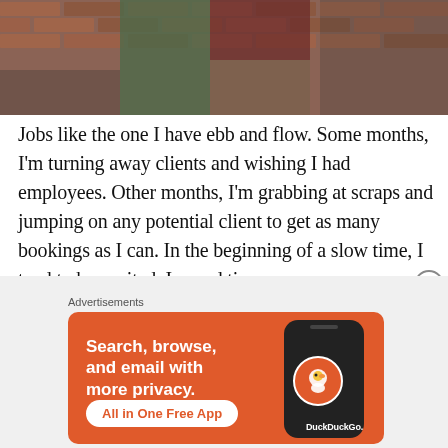[Figure (photo): Two people standing in front of a brick wall. One wearing a green plaid shirt, the other wearing a dark red top and plaid skirt.]
Jobs like the one I have ebb and flow. Some months, I'm turning away clients and wishing I had employees. Other months, I'm grabbing at scraps and jumping on any potential client to get as many bookings as I can. In the beginning of a slow time, I tend to be excited. I spend time
[Figure (other): DuckDuckGo advertisement banner. Text: Search, browse, and email with more privacy. All in One Free App. DuckDuckGo logo on right side with phone graphic.]